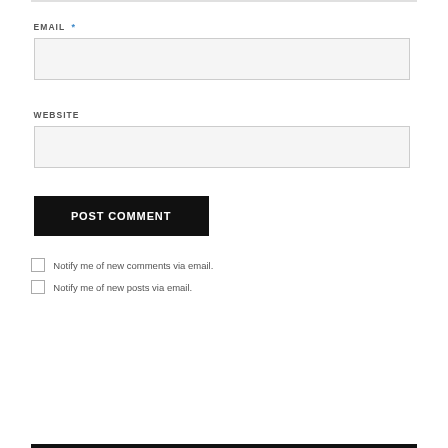EMAIL *
[Figure (other): Empty text input field for email]
WEBSITE
[Figure (other): Empty text input field for website]
POST COMMENT
Notify me of new comments via email.
Notify me of new posts via email.